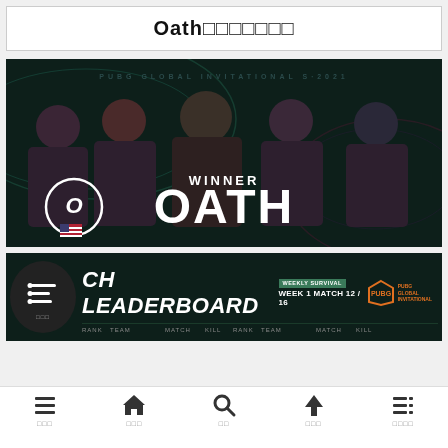Oath□□□□□□□
[Figure (photo): Five esports players in dark jerseys posing with arms crossed. Text overlay reads WINNER OATH with Oath logo and US flag. Background has dark teal swirling design. Event branding: PUBG Global Invitational.]
[Figure (screenshot): CH LEADERBOARD banner with WEEKLY SURVIVAL text, WEEK 1 MATCH 12/16, PUBG Global Invitational logo. Dark teal background. Column headers: RANK, TEAM, MATCH, KILL (repeated twice). Circular list icon overlay on left side with Japanese/Korean label below.]
메뉴  홈  검색  위로  즐겨찾기